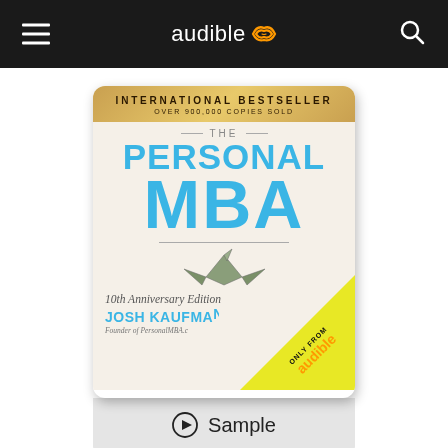audible
[Figure (illustration): Book cover of The Personal MBA 10th Anniversary Edition by Josh Kaufman. Gold banner at top reads INTERNATIONAL BESTSELLER / OVER 900,000 COPIES SOLD. Large blue text reads THE PERSONAL MBA. Features origami bird illustration. Bottom right yellow corner with ONLY FROM audible text. Below cover is a grey Sample button bar.]
The Personal MBA: Master the Art of Business